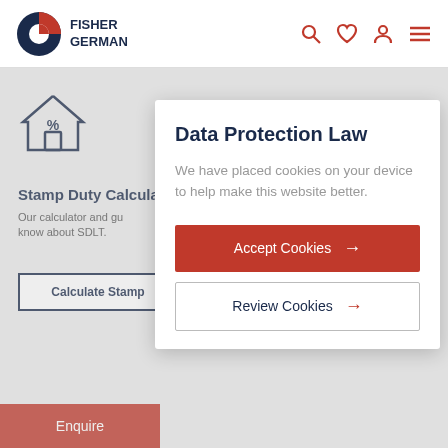[Figure (logo): Fisher German logo with red and navy circular icon and text FISHER GERMAN]
[Figure (illustration): House outline icon with percent symbol inside, in dark navy blue]
Stamp Duty Calcula...
Our calculator and gu... know about SDLT.
Calculate Stamp...
Data Protection Law
We have placed cookies on your device to help make this website better.
Accept Cookies →
Review Cookies →
Enquire